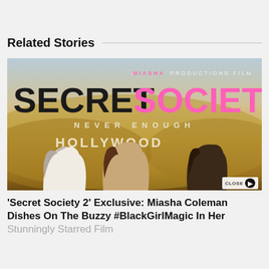Related Stories
[Figure (photo): Movie poster for 'Secret Society 2: Never Enough' - A Miasha Productions Film. Shows three women posed in front of the Hollywood sign. Text reads 'SECRET SOCIETY 2 NEVER ENOUGH' with SECRET in black and SOCIETY 2 in pink.]
'Secret Society 2' Exclusive: Miasha Coleman Dishes On The Buzzy #BlackGirlMagic In Her Stunningly Starred Film